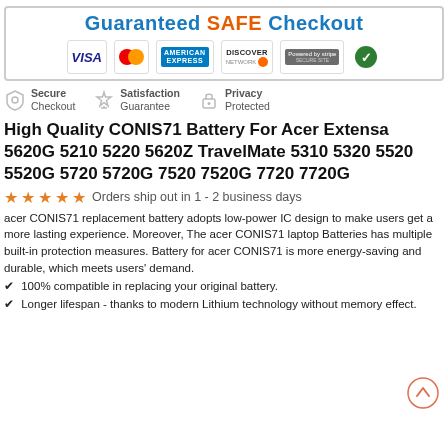[Figure (infographic): Guaranteed SAFE Checkout banner with payment card logos: VISA, MasterCard, American Express, Discover, Stripe, and a green checkmark badge. Below: Secure Checkout, Satisfaction Guarantee, Privacy Protected trust icons.]
High Quality CONIS71 Battery For Acer Extensa 5620G 5210 5220 5620Z TravelMate 5310 5320 5520 5520G 5720 5720G 7520 7520G 7720 7720G
★ ★ ★ ★ ★ Orders ship out in 1 - 2 business days
acer CONIS71 replacement battery adopts low-power IC design to make users get a more lasting experience. Moreover, The acer CONIS71 laptop Batteries has multiple built-in protection measures. Battery for acer CONIS71 is more energy-saving and durable, which meets users' demand.
✔ 100% compatible in replacing your original battery.
✔ Longer lifespan - thanks to modern Lithium technology without memory effect.